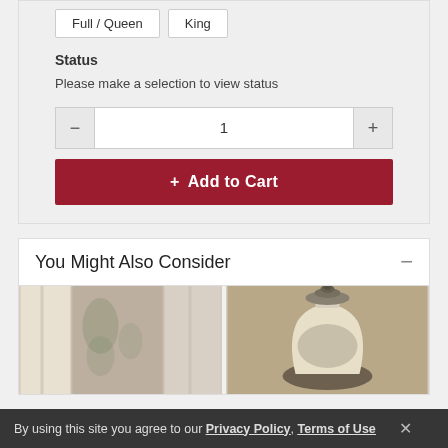Full / Queen
King
Status
Please make a selection to view status
1
+ Add to Cart
You Might Also Consider
[Figure (photo): Product image 1 - curtains/fabric with floral pattern]
[Figure (photo): Product image 2 - decorative vase with ornamental lid]
By using this site you agree to our Privacy Policy, Terms of Use